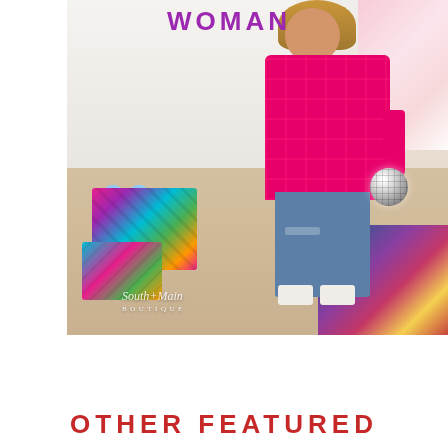[Figure (photo): A woman wearing a bright pink plaid blazer and distressed blue jeans, holding a small disco ball purse. Colorful woven tote bags are on the floor beside her. Background shows a boutique interior with a blue patterned rug and clothing rack. 'South+Main Boutique' watermark visible. 'WOMAN' text visible at top of photo.]
OTHER FEATURED